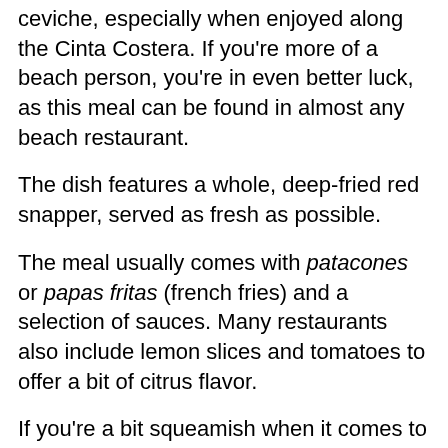ceviche, especially when enjoyed along the Cinta Costera. If you're more of a beach person, you're in even better luck, as this meal can be found in almost any beach restaurant.
The dish features a whole, deep-fried red snapper, served as fresh as possible.
The meal usually comes with patacones or papas fritas (french fries) and a selection of sauces. Many restaurants also include lemon slices and tomatoes to offer a bit of citrus flavor.
If you're a bit squeamish when it comes to seafood, especially when fried whole, this might take some getting used to, but believe us, once you have a taste you'll be sold.